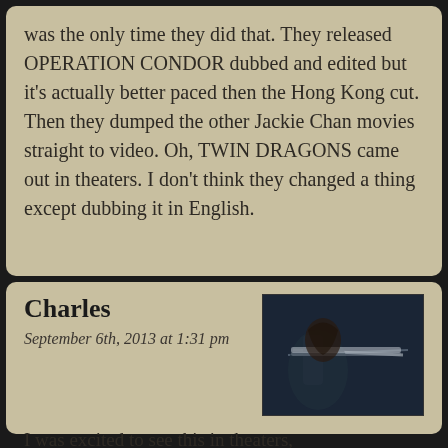was the only time they did that. They released OPERATION CONDOR dubbed and edited but it's actually better paced then the Hong Kong cut. Then they dumped the other Jackie Chan movies straight to video. Oh, TWIN DRAGONS came out in theaters. I don't think they changed a thing except dubbing it in English.
Charles
September 6th, 2013 at 1:31 pm
[Figure (photo): Dark image of a person holding what appears to be a weapon or instrument, dark cinematic scene]
I was excited to see this in theaters, but now I am totally bummed out by the news that it is some bastardized American cut of the film.